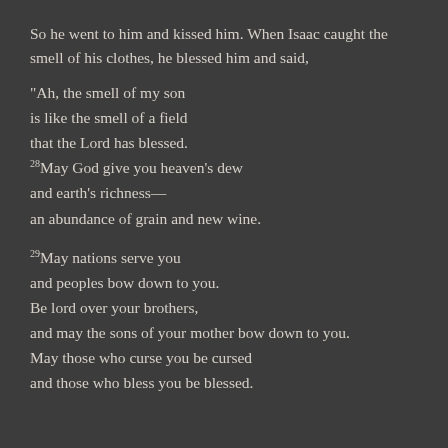So he went to him and kissed him. When Isaac caught the smell of his clothes, he blessed him and said,
“Ah, the smell of my son
is like the smell of a field
that the Lord has blessed.
28May God give you heaven’s dew
and earth’s richness—
an abundance of grain and new wine.

29May nations serve you
and peoples bow down to you.
Be lord over your brothers,
and may the sons of your mother bow down to you.
May those who curse you be cursed
and those who bless you be blessed.